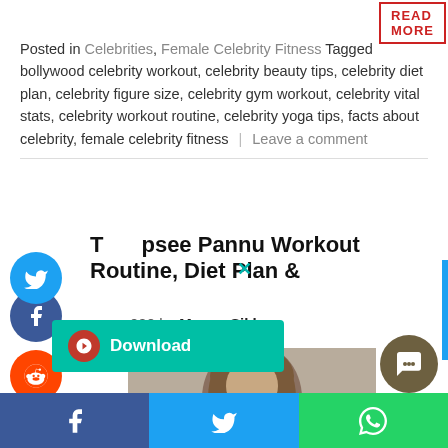READ MORE
Posted in Celebrities, Female Celebrity Fitness Tagged bollywood celebrity workout, celebrity beauty tips, celebrity diet plan, celebrity figure size, celebrity gym workout, celebrity vital stats, celebrity workout routine, celebrity yoga tips, facts about celebrity, female celebrity fitness | Leave a comment
Tapsee Pannu Workout Routine, Diet Plan & Beauty Secrets
2020 by Manya Sikka
[Figure (photo): Photo of Tapsee Pannu, a Bollywood celebrity, with long highlighted hair wearing a dark outfit]
[Figure (screenshot): Download popup overlay with teal background and Pinterest icon]
[Figure (infographic): Social media share icons sidebar: Facebook, Twitter, Reddit, LinkedIn. Bottom bar with Facebook, Twitter, WhatsApp.]